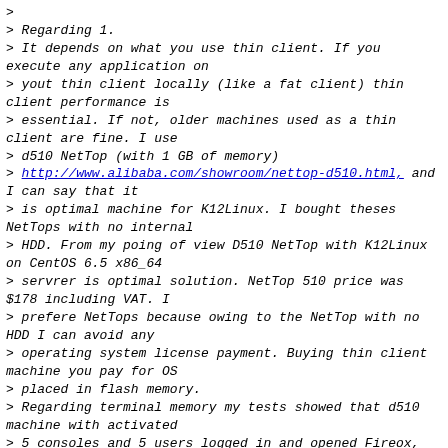> 
> Regarding 1.
> It depends on what you use thin client. If you execute any application on
> yout thin client locally (like a fat client) thin client performance is
> essential. If not, older machines used as a thin client are fine. I use
> d510 NetTop (with 1 GB of memory)
> http://www.alibaba.com/showroom/nettop-d510.html, and I can say that it
> is optimal machine for K12Linux. I bought theses NetTops with no internal
> HDD. From my poing of view D510 NetTop with K12Linux on CentOS 6.5 x86_64
> servrer is optimal solution. NetTop 510 price was $178 including VAT. I
> prefere NetTops because owing to the NetTop with no HDD I can avoid any
> operating system license payment. Buying thin client machine you pay for OS
> placed in flash memory.
> Regarding terminal memory my tests showed that d510 machine with activated
> 5 consoles and 5 users logged in and opened Fireox, Libre/Microsoft Office
> (Ctrl+Alt+F1 ... Ctrl+Alt+F5 - 2xLDM, 1xXDMCP 1xxfreerdp and 1xrdesktop)
> used no more than 500 MB of memory. So, for standard office user terminal
> equipped with 1 GB of memory is OK.